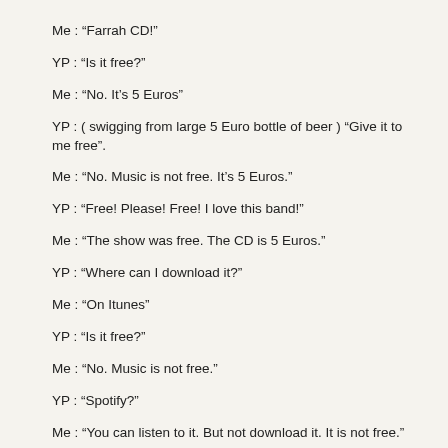Me : “Farrah CD!”
YP : “Is it free?”
Me : “No. It’s 5 Euros”
YP : ( swigging from large 5 Euro bottle of beer ) “Give it to me free”.
Me : “No. Music is not free. It’s 5 Euros.”
YP : “Free! Please! Free! I love this band!”
Me : “The show was free. The CD is 5 Euros.”
YP : “Where can I download it?”
Me : “On Itunes”
YP : “Is it free?”
Me : “No. Music is not free.”
YP : “Spotify?”
Me : “You can listen to it. But not download it. It is not free.”